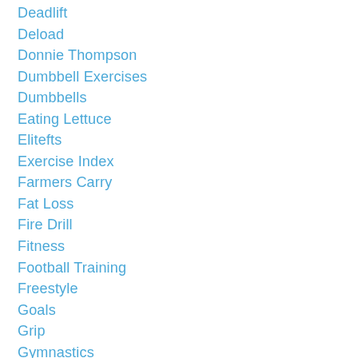Deadlift
Deload
Donnie Thompson
Dumbbell Exercises
Dumbbells
Eating Lettuce
Elitefts
Exercise Index
Farmers Carry
Fat Loss
Fire Drill
Fitness
Football Training
Freestyle
Goals
Grip
Gymnastics
Handstand Pushups
Homemade Equipment
Inspiration